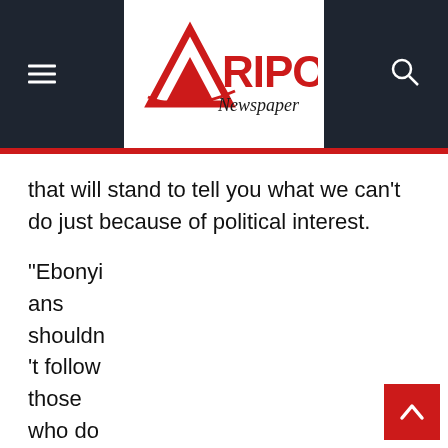Afripost Newspaper
that will stand to tell you what we can't do just because of political interest.
“Ebonyians shouldn't follow those who do not have value, instead of you betraying ng